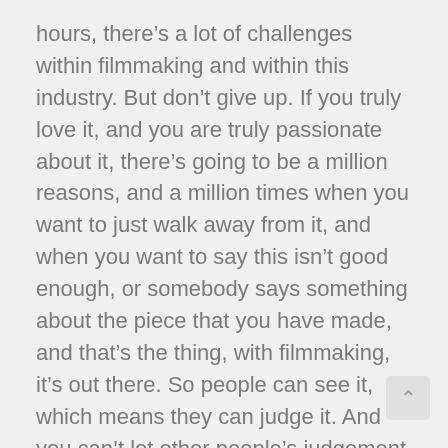hours, there's a lot of challenges within filmmaking and within this industry. But don't give up. If you truly love it, and you are truly passionate about it, there's going to be a million reasons, and a million times when you want to just walk away from it, and when you want to say this isn't good enough, or somebody says something about the piece that you have made, and that's the thing, with filmmaking, it's out there. So people can see it, which means they can judge it. And you can't let other people's judgement dictate what you're going to create and what you're going to continue to do, or not do. So be true to yourself, and if you have made something, you are successful. You made that, and that something that came from you that no one c take away, and you should be true to that and